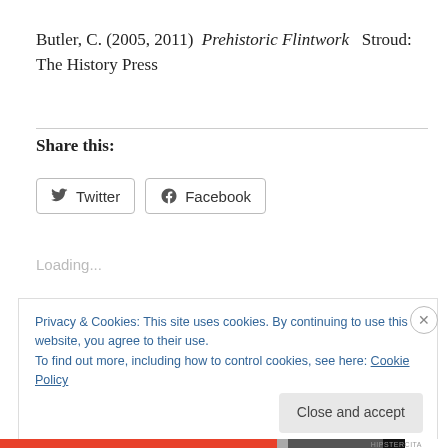Butler, C. (2005, 2011)  Prehistoric Flintwork   Stroud: The History Press
Share this:
[Figure (other): Social sharing buttons for Twitter and Facebook]
Loading...
Privacy & Cookies: This site uses cookies. By continuing to use this website, you agree to their use.
To find out more, including how to control cookies, see here: Cookie Policy
Close and accept